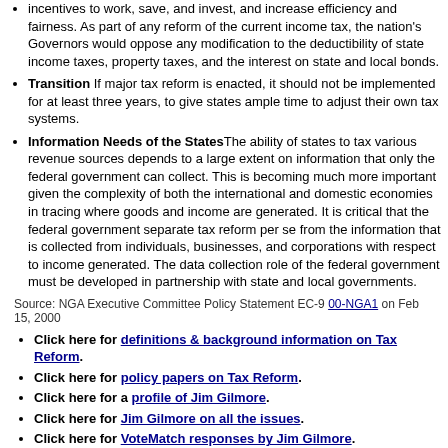incentives to work, save, and invest, and increase efficiency and fairness. As part of any reform of the current income tax, the nation's Governors would oppose any modification to the deductibility of state income taxes, property taxes, and the interest on state and local bonds.
Transition If major tax reform is enacted, it should not be implemented for at least three years, to give states ample time to adjust their own tax systems.
Information Needs of the States The ability of states to tax various revenue sources depends to a large extent on information that only the federal government can collect. This is becoming much more important given the complexity of both the international and domestic economies in tracing where goods and income are generated. It is critical that the federal government separate tax reform per se from the information that is collected from individuals, businesses, and corporations with respect to income generated. The data collection role of the federal government must be developed in partnership with state and local governments.
Source: NGA Executive Committee Policy Statement EC-9 00-NGA1 on Feb 15, 2000
Click here for definitions & background information on Tax Reform.
Click here for policy papers on Tax Reform.
Click here for a profile of Jim Gilmore.
Click here for Jim Gilmore on all the issues.
Click here for VoteMatch responses by Jim Gilmore.
Click here for AmericansElect responses by Jim Gilmore.
Other candidates on Tax Reform:
Jim Gilmore on other issues:
Incumbents:
Abortion